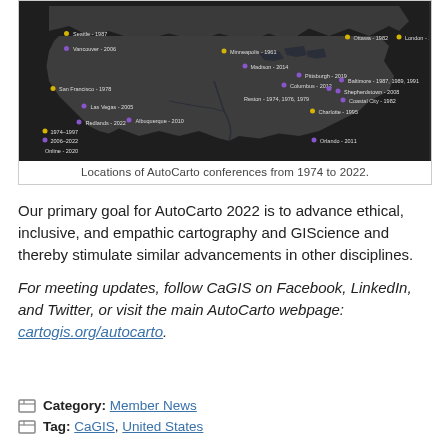[Figure (map): Dark map of North America showing locations of AutoCarto conferences from 1974 to 2022, with labeled dots (yellow and purple) at various cities including Seattle, Vancouver, Minneapolis, Ottawa, London, San Francisco, Pittsburgh, Baltimore, Reston, Charlotte, Las Vegas, Redlands, Albuquerque, Shepherdstown, Coastal City, Orlando, and others.]
Locations of AutoCarto conferences from 1974 to 2022.
Our primary goal for AutoCarto 2022 is to advance ethical, inclusive, and empathic cartography and GIScience and thereby stimulate similar advancements in other disciplines.
For meeting updates, follow CaGIS on Facebook, LinkedIn, and Twitter, or visit the main AutoCarto webpage: cartogis.org/autocarto.
Category: Member News
Tag: CaGIS, United States